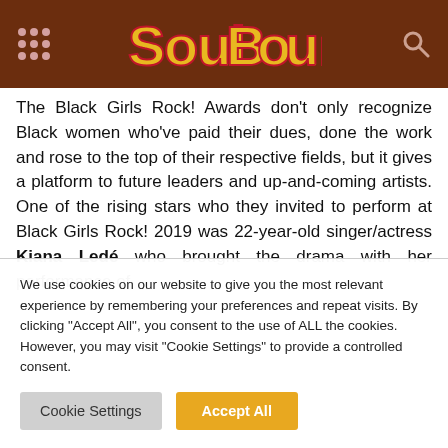SoulBounce
The Black Girls Rock! Awards don't only recognize Black women who've paid their dues, done the work and rose to the top of their respective fields, but it gives a platform to future leaders and up-and-coming artists. One of the rising stars who they invited to perform at Black Girls Rock! 2019 was 22-year-old singer/actress Kiana Ledé who brought the drama with her performance of
We use cookies on our website to give you the most relevant experience by remembering your preferences and repeat visits. By clicking "Accept All", you consent to the use of ALL the cookies. However, you may visit "Cookie Settings" to provide a controlled consent.